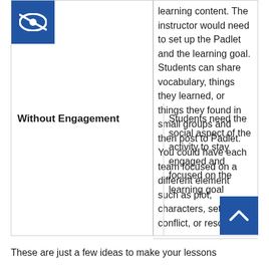[Figure (logo): Blue square icon with white eye/accessibility symbol]
learning content. The instructor would need to set up the Padlet and the learning goal. Students can share vocabulary, things they learned, or things they found in small groups and then post to Padlet. You could have each team focused on a different element such as plot, characters, setting, conflict, or resolution.
| Without Engagement | Students need the social aspect of the activity to stay engaged and focused on the learning goal |
These are just a few ideas to make your lessons